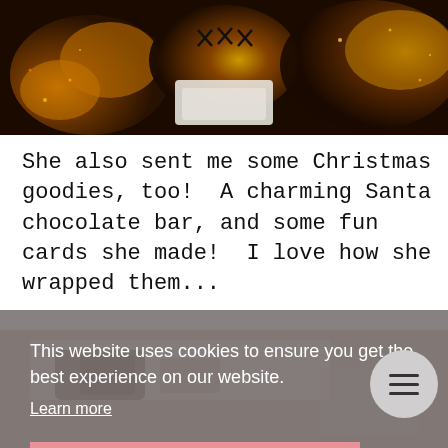[Figure (photo): Close-up photo of chocolate cupcakes/muffins with golden and dark sparkly tops, one in a white paper wrapper]
She also sent me some Christmas goodies, too!  A charming Santa chocolate bar, and some fun cards she made!  I love how she wrapped them...
[Figure (photo): Photo of items on a lace tablecloth, partially obscured by cookie consent overlay]
This website uses cookies to ensure you get the best experience on our website.
Learn more
Got it!